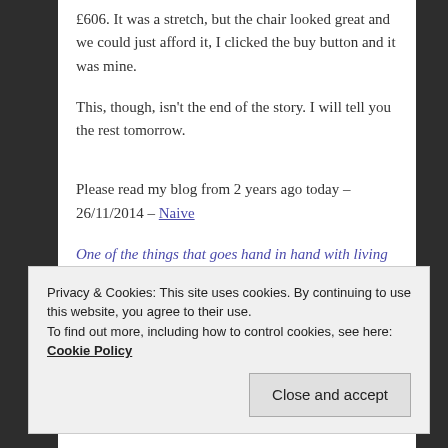£606. It was a stretch, but the chair looked great and we could just afford it, I clicked the buy button and it was mine.
This, though, isn't the end of the story. I will tell you the rest tomorrow.
Please read my blog from 2 years ago today – 26/11/2014 – Naive
One of the things that goes hand in hand with living with most chronic illnesses is they are totally unpredictable, one day or even hour can be totally different from the last. This one…
Privacy & Cookies: This site uses cookies. By continuing to use this website, you agree to their use.
To find out more, including how to control cookies, see here: Cookie Policy